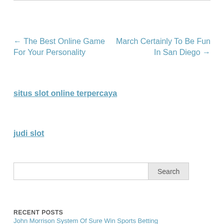← The Best Online Game For Your Personality
March Certainly To Be Fun In San Diego →
situs slot online terpercaya
judi slot
RECENT POSTS
John Morrison System Of Sure Win Sports Betting